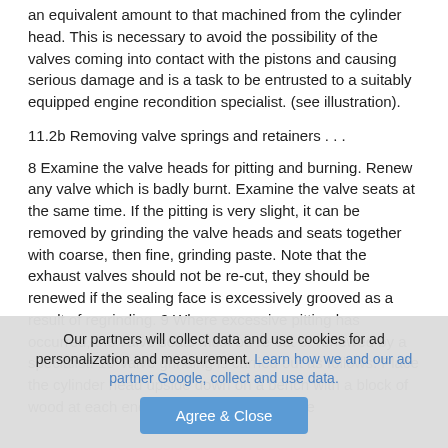an equivalent amount to that machined from the cylinder head. This is necessary to avoid the possibility of the valves coming into contact with the pistons and causing serious damage and is a task to be entrusted to a suitably equipped engine recondition specialist. (see illustration).
11.2b Removing valve springs and retainers . . .
8 Examine the valve heads for pitting and burning. Renew any valve which is badly burnt. Examine the valve seats at the same time. If the pitting is very slight, it can be removed by grinding the valve heads and seats together with coarse, then fine, grinding paste. Note that the exhaust valves should not be re-cut, they should be renewed if the sealing face is excessively grooved as a result of regrinding. 9 Where excessive pitting has occurred, the valve seats must be re-cut or renewed by a specialist. 10 Valve grinding is carried out as follows. Place the cylinder head upside down on a bench with a block of wood at each end. Smear a trace of coarse
Our partners will collect data and use cookies for ad personalization and measurement. Learn how we and our ad partner Google, collect and use data.
Agree & Close